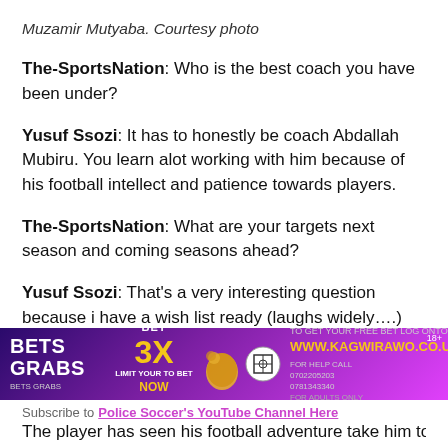Muzamir Mutyaba. Courtesy photo
The-SportsNation: Who is the best coach you have been under?
Yusuf Ssozi: It has to honestly be coach Abdallah Mubiru. You learn alot working with him because of his football intellect and patience towards players.
The-SportsNation: What are your targets next season and coming seasons ahead?
Yusuf Ssozi: That's a very interesting question because i have a wish list ready (laughs widely....) my plan and prayer is to recover my form and give the best to Police FC, getting into the Uganda Cranes Head Coach's plans with the World Cup qualifiers on the horizon and who
[Figure (infographic): BETS GRABS advertisement banner with BET 3X promotion and www.kagwirawo.co.ug URL in purple/gold colors]
The player has seen his football adventure take him to